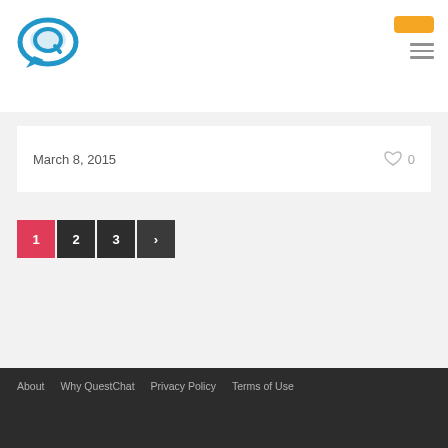[Figure (logo): QuestChat logo - blue speech bubble with Q letter]
March 8, 2015
0
1
2
3
>
About   Why QuestChat   Privacy Policy   Terms of Use